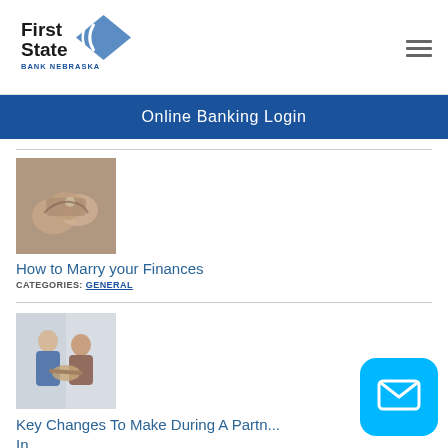[Figure (logo): First State Bank Nebraska logo with blue diamond shape]
Online Banking Login
[Figure (photo): Hands exchanging a ring, related to marriage finances article]
How to Marry your Finances
CATEGORIES: GENERAL
[Figure (photo): Two people shaking hands, business partner article]
Key Changes To Make During A Partn... In
CATEGORIES: SALT CREEK